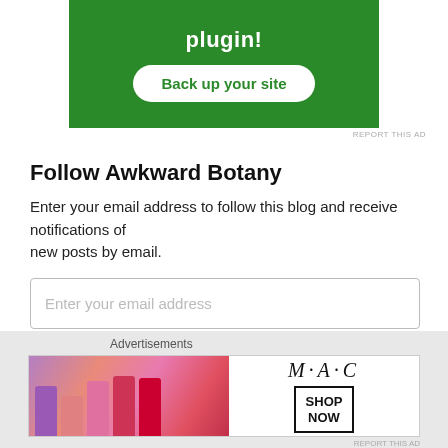[Figure (other): Green advertisement banner with 'plugin!' text and 'Back up your site' button]
REPORT THIS AD
Follow Awkward Botany
Enter your email address to follow this blog and receive notifications of new posts by email.
Enter your email address
Follow
Join 6,878 other followers
Advertisements
[Figure (photo): MAC cosmetics advertisement banner with lipsticks and SHOP NOW button]